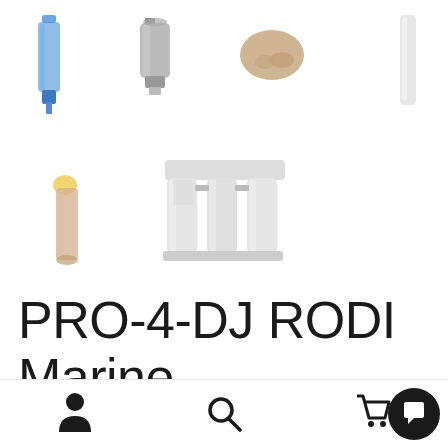[Figure (photo): Grid of water filter product images: filter cartridges, membranes, mineral rock, filter housing, and multi-stage filter system]
PRO-4-DJ RODI Marine Fish Tank R...
Money back guarantees , get your product or your money back, buy with complete confidence
Dismiss
[Figure (other): Bottom navigation bar with person icon, search icon, cart icon, and chat bubble button]